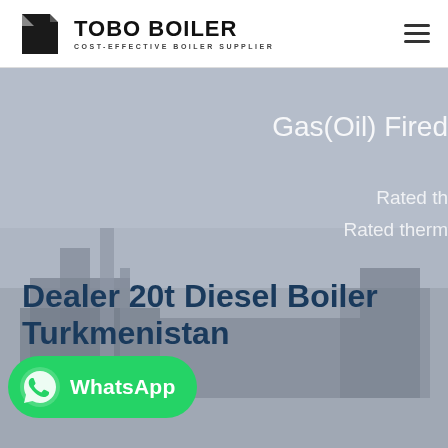[Figure (logo): TOBO BOILER logo with icon and text 'COST-EFFECTIVE BOILER SUPPLIER']
[Figure (photo): Hero banner showing industrial boiler equipment with grey overlay. Text overlays read 'Gas(Oil) Fired', 'Rated th...', 'Rated therm...' on the right side in light text.]
Dealer 20t Diesel Boiler Turkmenistan
[Figure (other): Green WhatsApp button with phone icon and text 'WhatsApp']